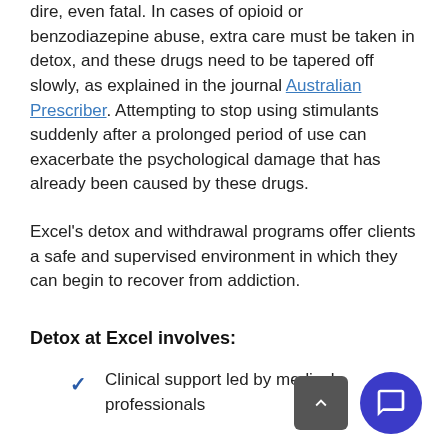dire, even fatal. In cases of opioid or benzodiazepine abuse, extra care must be taken in detox, and these drugs need to be tapered off slowly, as explained in the journal Australian Prescriber. Attempting to stop using stimulants suddenly after a prolonged period of use can exacerbate the psychological damage that has already been caused by these drugs.
Excel's detox and withdrawal programs offer clients a safe and supervised environment in which they can begin to recover from addiction.
Detox at Excel involves:
Clinical support led by medical professionals